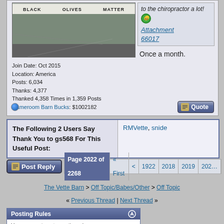[Figure (photo): Photo of a street scene with a sign reading BLACK OLIVES MATTER on a wall above an asphalt road]
Join Date: Oct 2015
Location: America
Posts: 6,034
Thanks: 4,377
Thanked 4,358 Times in 1,359 Posts
Gameroom Barn Bucks: $1002182
to the chiropractor a lot! [emoji] Attachment 66017
Once a month.
The Following 2 Users Say Thank You to gs568 For This Useful Post:
RMVette, snide
Page 2022 of 2268  « First  <  1922  2018  2019  202...
The Vette Barn > Off Topic/Babes/Other > Off Topic
« Previous Thread | Next Thread »
Posting Rules
You may not post new threads
You may not post replies